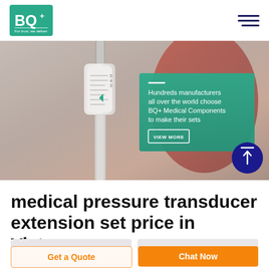[Figure (logo): BQ+ logo with tagline 'For trust, we deliver' on green background]
[Figure (photo): Hero banner showing medical IV drip/pressure transducer extension set with a teal overlay card reading 'Hundreds manufacturers all over the world choose BQ+ Medical Components to make their sets' and a VIEW MORE button]
medical pressure transducer extension set price in Vietnam
[Figure (screenshot): Two input fields side by side]
Get a Quote
Chat Now